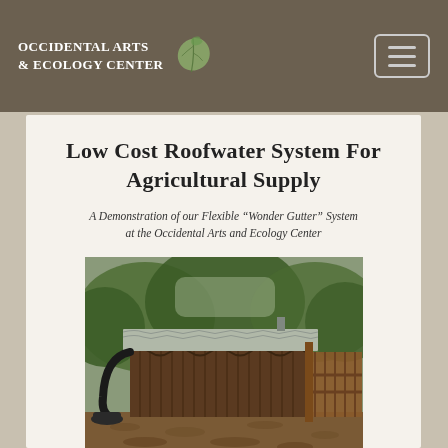Occidental Arts & Ecology Center
Low Cost Roofwater System For Agricultural Supply
A Demonstration of our Flexible “Wonder Gutter” System at the Occidental Arts and Ecology Center
[Figure (photo): Outdoor wooden structure with a metal corrugated roof, wavy decorative wooden fascia, surrounded by trees and mulched ground, with a wooden gate visible on the right side.]
[Figure (logo): Circular logo or emblem at the bottom of the page, partially visible.]